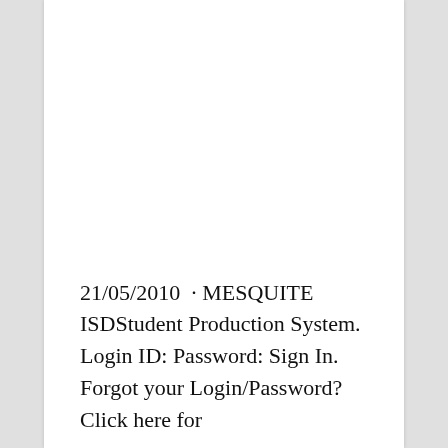21/05/2010 · MESQUITE ISDStudent Production System. Login ID: Password: Sign In. Forgot your Login/Password? Click here for...